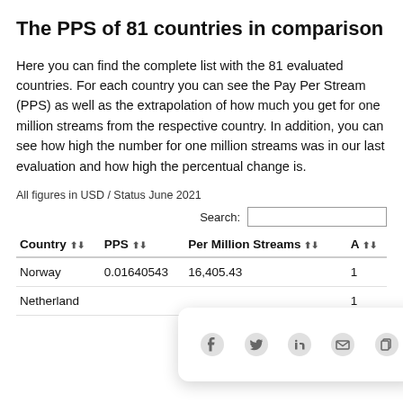The PPS of 81 countries in comparison
Here you can find the complete list with the 81 evaluated countries. For each country you can see the Pay Per Stream (PPS) as well as the extrapolation of how much you get for one million streams from the respective country. In addition, you can see how high the number for one million streams was in our last evaluation and how high the percentual change is.
All figures in USD / Status June 2021
| Country | PPS | Per Million Streams | A |
| --- | --- | --- | --- |
| Norway | 0.01640543 | 16,405.43 | 1 |
| Netherland |  |  | 1 |